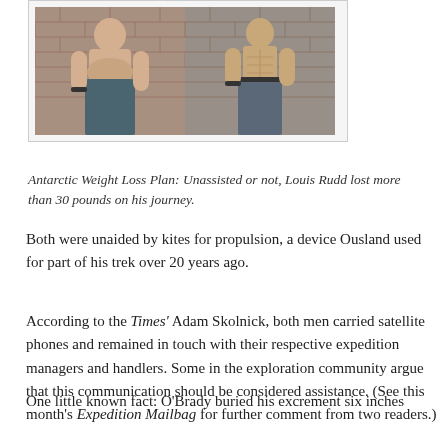[Figure (photo): Two before-and-after photos of men shirtless showing weight loss, standing against a brick wall background]
Antarctic Weight Loss Plan: Unassisted or not, Louis Rudd lost more than 30 pounds on his journey.
Both were unaided by kites for propulsion, a device Ousland used for part of his trek over 20 years ago.
According to the Times' Adam Skolnick, both men carried satellite phones and remained in touch with their respective expedition managers and handlers. Some in the exploration community argue that this communication should be considered assistance. (See this month's Expedition Mailbag for further comment from two readers.)
One little known fact: O'Brady buried his excrement six inches deep, a rule that few valley of trips too. Rudd is also done to